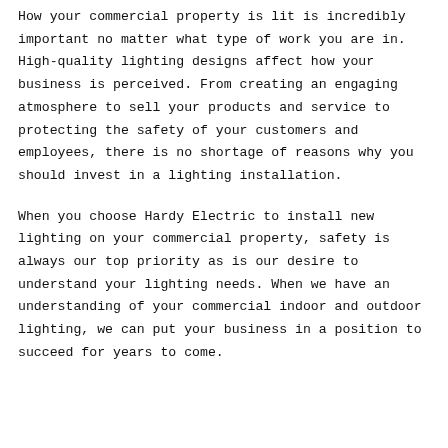How your commercial property is lit is incredibly important no matter what type of work you are in. High-quality lighting designs affect how your business is perceived. From creating an engaging atmosphere to sell your products and service to protecting the safety of your customers and employees, there is no shortage of reasons why you should invest in a lighting installation.
When you choose Hardy Electric to install new lighting on your commercial property, safety is always our top priority as is our desire to understand your lighting needs. When we have an understanding of your commercial indoor and outdoor lighting, we can put your business in a position to succeed for years to come.